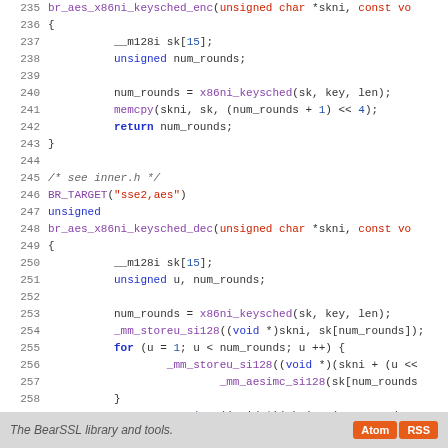[Figure (screenshot): Source code listing showing C code for BearSSL AES x86ni key schedule functions, lines 235-263, with syntax highlighting. Keywords in blue, strings in dark red, function names in purple, line numbers in gray.]
The BearSSL library and tools.  Atom  RSS